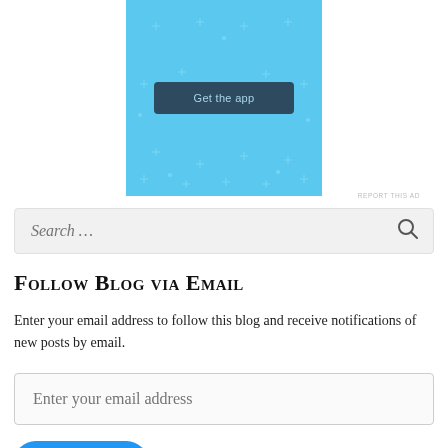[Figure (screenshot): Blue advertisement banner with sparkle/star decorations and a dark 'Get the app' button in the center]
REPORT THIS AD
Search ...
Follow Blog via Email
Enter your email address to follow this blog and receive notifications of new posts by email.
Enter your email address
FOLLOW